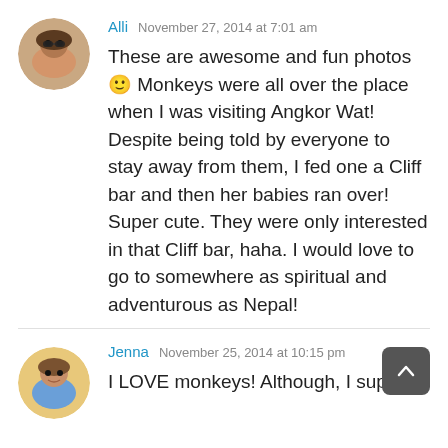[Figure (photo): Circular avatar photo of Alli, a woman with sunglasses]
Alli  November 27, 2014 at 7:01 am
These are awesome and fun photos 🙂 Monkeys were all over the place when I was visiting Angkor Wat! Despite being told by everyone to stay away from them, I fed one a Cliff bar and then her babies ran over! Super cute. They were only interested in that Cliff bar, haha. I would love to go to somewhere as spiritual and adventurous as Nepal!
[Figure (photo): Circular avatar photo of Jenna, a woman outdoors]
Jenna  November 25, 2014 at 10:15 pm
I LOVE monkeys! Although, I suppose